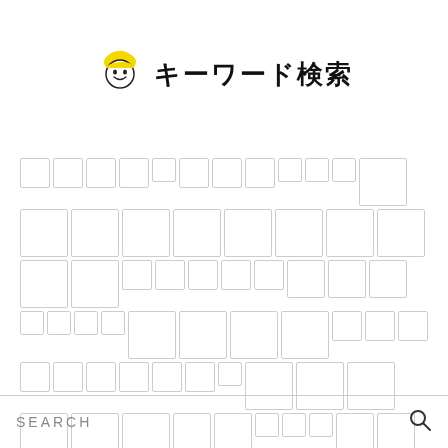[Figure (illustration): Cartoon mascot face with yellow hair, smiling, drawn in simple line art style]
キーワード検索
[Figure (infographic): Tag cloud made of rectangular outlined boxes of varying sizes representing keyword tags, with an arrow symbol in the middle row]
SEARCH